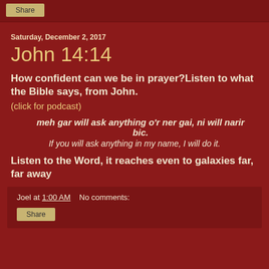Share
Saturday, December 2, 2017
John 14:14
How confident can we be in prayer?Listen to what the Bible says, from John.
(click for podcast)
meh gar will ask anything o'r ner gai, ni will narir bic.
If you will ask anything in my name, I will do it.
Listen to the Word, it reaches even to galaxies far, far away
Joel at 1:00 AM    No comments: